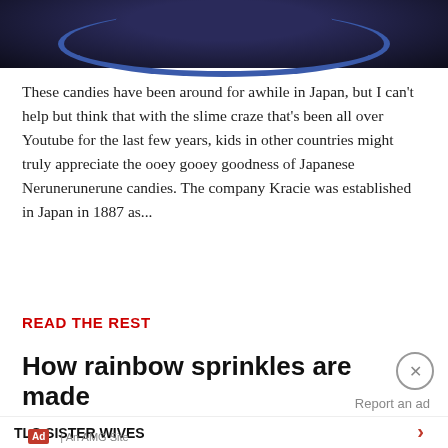[Figure (photo): Top portion of a photo showing a dark blue bowl with candy, cropped at top of page]
These candies have been around for awhile in Japan, but I can't help but think that with the slime craze that's been all over Youtube for the last few years, kids in other countries might truly appreciate the ooey gooey goodness of Japanese Nerunerunerune candies. The company Kracie was established in Japan in 1887 as...
READ THE REST
How rainbow sprinkles are made
Report an ad
TLC SISTER WIVES
Ad | An AMG Site